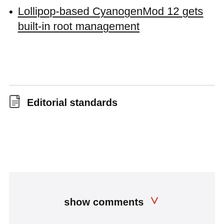Lollipop-based CyanogenMod 12 gets built-in root management
Editorial standards
show comments